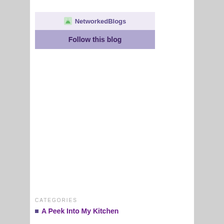[Figure (logo): NetworkedBlogs widget header with small icon and text 'NetworkedBlogs' on a light lavender background]
Follow this blog
CATEGORIES
A Peek Into My Kitchen